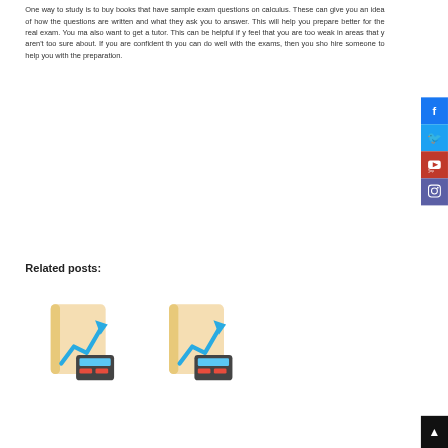One way to study is to buy books that have sample exam questions on calculus. These can give you an idea of how the questions are written and what they ask you to answer. This will help you prepare better for the real exam. You may also want to get a tutor. This can be helpful if you feel that you are too weak in areas that you aren't too sure about. If you are confident that you can do well with the exams, then you should hire someone to help you with the preparation.
Related posts:
[Figure (illustration): Two illustrated icons of notebooks/documents with an upward trending chart arrow and a calculator, shown in beige/cream, teal/cyan and dark grey/red colors]